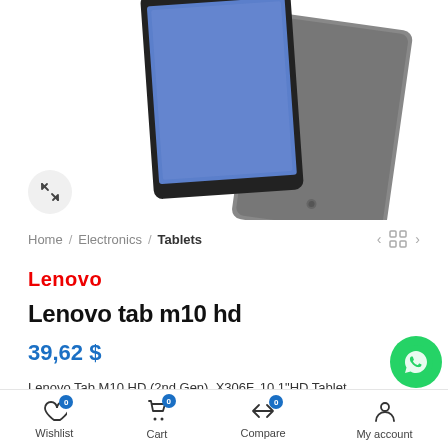[Figure (photo): Lenovo Tab M10 HD tablet product image showing front and back of grey tablet]
Home / Electronics / Tablets
Lenovo
Lenovo tab m10 hd
39,62 $
Lenovo Tab M10 HD (2nd Gen), X306F, 10.1"HD Tablet, MediaTek Helio P22T 2.3GHz Processor, 2GB RAM, 32GB Storage, Wil Android 10 OS, Iron Grey Color – [ZA6W0166AE]
Wishlist  Cart  Compare  My account